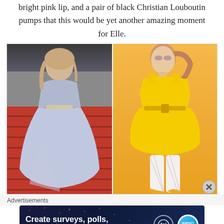bright pink lip, and a pair of black Christian Louboutin pumps that this would be yet another amazing moment for Elle.
[Figure (photo): Two side-by-side photos: left shows a woman in a light blue/periwinkle floor-length gown on red carpet steps; right shows a model in a bright yellow structured mini dress with white textured stockings against an orange background.]
Advertisements
[Figure (other): Advertisement banner with dark blue starry background reading 'Create surveys, polls, quizzes, and forms.' with WordPress logo and a survey brand circular icon on the right.]